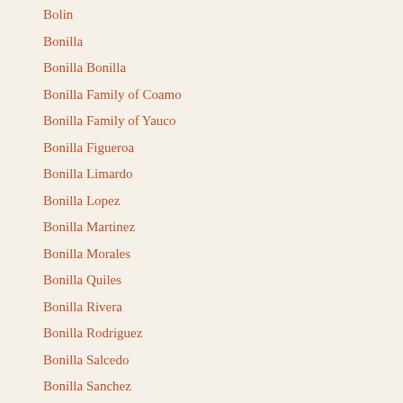Bolin
Bonilla
Bonilla Bonilla
Bonilla Family of Coamo
Bonilla Family of Yauco
Bonilla Figueroa
Bonilla Limardo
Bonilla Lopez
Bonilla Martinez
Bonilla Morales
Bonilla Quiles
Bonilla Rivera
Bonilla Rodriguez
Bonilla Salcedo
Bonilla Sanchez